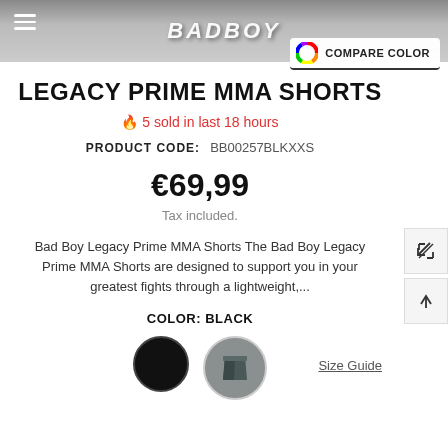[Figure (screenshot): Top navigation bar with hamburger menu, search icon, and Bad Boy brand logo on dark background]
COMPARE COLOR
LEGACY PRIME MMA SHORTS
🔥 5 sold in last 18 hours
PRODUCT CODE: BB00257BLKXXS
€69,99
Tax included.
Bad Boy Legacy Prime MMA Shorts The Bad Boy Legacy Prime MMA Shorts are designed to support you in your greatest fights through a lightweight,...
COLOR: BLACK
[Figure (illustration): Two color swatches: black circle and grey shorts thumbnail]
Size Guide
SIZE: XX-SMALL